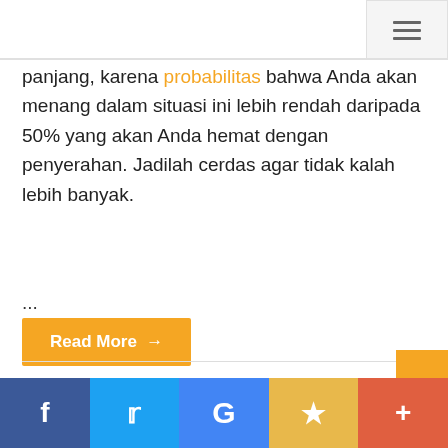[Figure (other): Hamburger menu icon button in top-right corner]
panjang, karena probabilitas bahwa Anda akan menang dalam situasi ini lebih rendah daripada 50% yang akan Anda hemat dengan penyerahan. Jadilah cerdas agar tidak kalah lebih banyak.
...
Read More →
[Figure (other): Social share bar with Facebook, Twitter, Google, bookmark/star, and plus buttons]